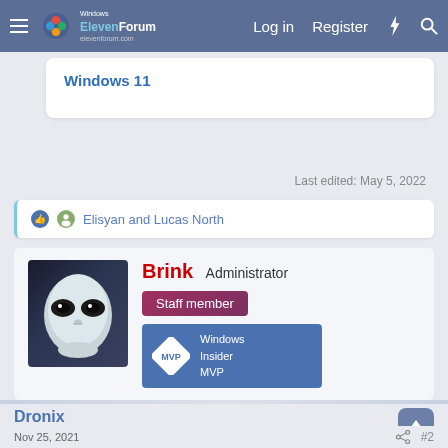ElevenForum | Log in | Register
Windows 11
Last edited: May 5, 2022
Elisyan and Lucas North
Brink Administrator
Staff member
MVP Windows Insider MVP
Dronix
Member
Nov 25, 2021  #2